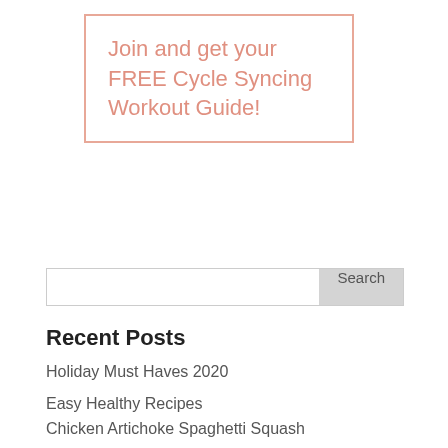Join and get your FREE Cycle Syncing Workout Guide!
Search
Recent Posts
Holiday Must Haves 2020
Easy Healthy Recipes
Chicken Artichoke Spaghetti Squash
Healthy Chicken Bone with Cauliflower Crumbing